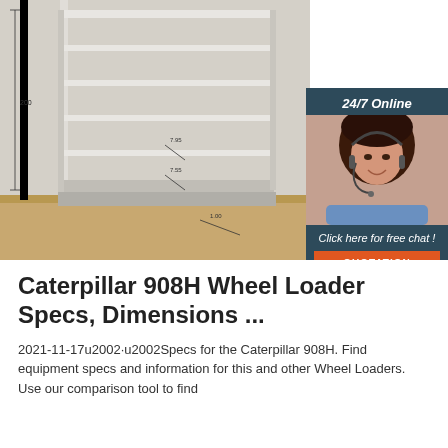[Figure (photo): Photo of a white retail/pharmacy shelving unit with multiple horizontal shelves on a wood floor. Dimension annotations are visible on the image. A 24/7 online chat widget overlay is visible in the top-right corner showing a woman with a headset, with text 'Click here for free chat!' and an orange 'QUOTATION' button.]
Caterpillar 908H Wheel Loader Specs, Dimensions ...
2021-11-17u2002·u2002Specs for the Caterpillar 908H. Find equipment specs and information for this and other Wheel Loaders. Use our comparison tool to find